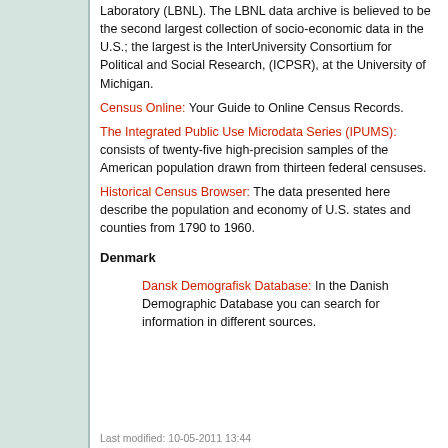Laboratory (LBNL). The LBNL data archive is believed to be the second largest collection of socio-economic data in the U.S.; the largest is the InterUniversity Consortium for Political and Social Research, (ICPSR), at the University of Michigan.
Census Online: Your Guide to Online Census Records.
The Integrated Public Use Microdata Series (IPUMS): consists of twenty-five high-precision samples of the American population drawn from thirteen federal censuses.
Historical Census Browser: The data presented here describe the population and economy of U.S. states and counties from 1790 to 1960.
Denmark
Dansk Demografisk Database: In the Danish Demographic Database you can search for information in different sources.
Last modified: 10-05-2011 13:44